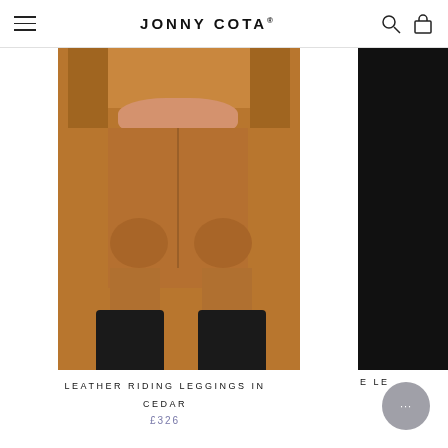JONNY COTA®
[Figure (photo): Model wearing tan/cedar leather riding leggings with black ankle boots, cropped to show lower torso and legs. Partial black garment visible on right edge.]
LEATHER RIDING LEGGINGS IN CEDAR
£326